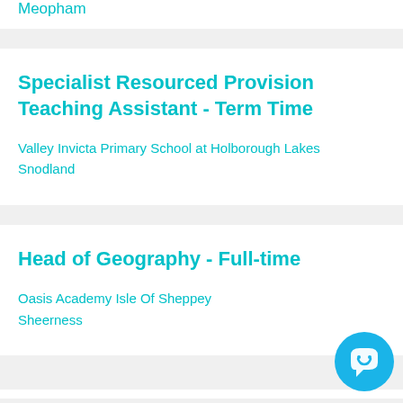Meopham
Specialist Resourced Provision Teaching Assistant - Term Time
Valley Invicta Primary School at Holborough Lakes
Snodland
Head of Geography - Full-time
Oasis Academy Isle Of Sheppey
Sheerness